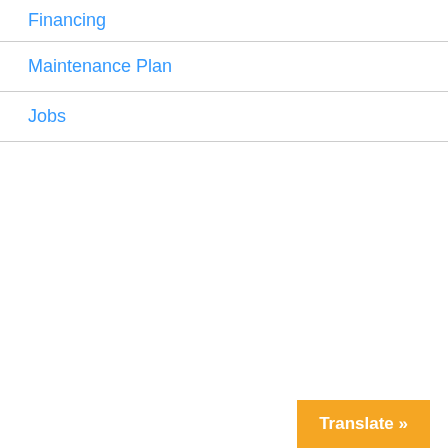Financing
Maintenance Plan
Jobs
Translate »